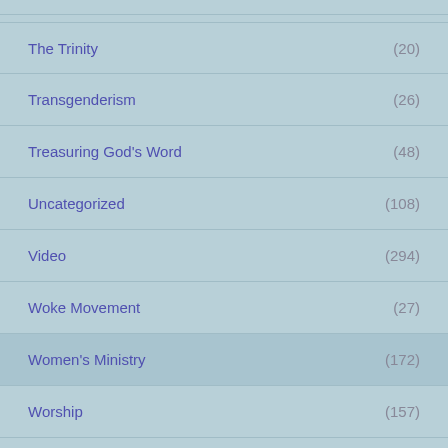The Trinity (20)
Transgenderism (26)
Treasuring God's Word (48)
Uncategorized (108)
Video (294)
Woke Movement (27)
Women's Ministry (172)
Worship (157)
Yoga (20)